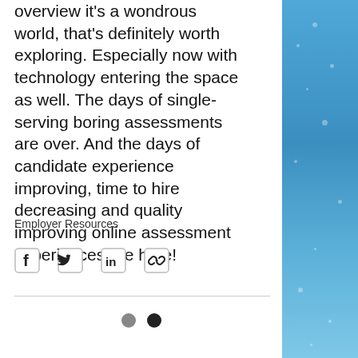overview it's a wondrous world, that's definitely worth exploring. Especially now with technology entering the space as well. The days of single-serving boring assessments are over. And the days of candidate experience improving, time to hire decreasing and quality improving online assessment experiences are here!
Employer Resources
[Figure (other): Social share icons: Facebook, Twitter, LinkedIn, Link/copy icon]